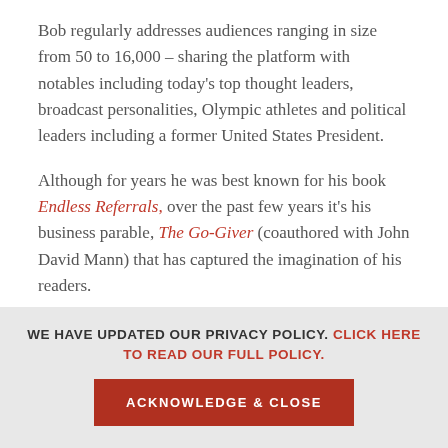Bob regularly addresses audiences ranging in size from 50 to 16,000 – sharing the platform with notables including today's top thought leaders, broadcast personalities, Olympic athletes and political leaders including a former United States President.
Although for years he was best known for his book Endless Referrals, over the past few years it's his business parable, The Go-Giver (coauthored with John David Mann) that has captured the imagination of his readers.
The Go-Giver, a Wall Street
Journal and BusinessWeek Bestseller, has sold over
WE HAVE UPDATED OUR PRIVACY POLICY. CLICK HERE TO READ OUR FULL POLICY.
ACKNOWLEDGE & CLOSE